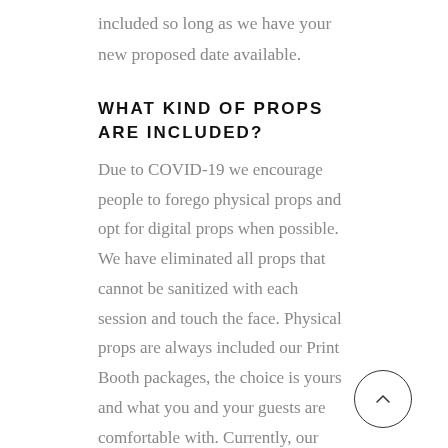included so long as we have your new proposed date available.
WHAT KIND OF PROPS ARE INCLUDED?
Due to COVID-19 we encourage people to forego physical props and opt for digital props when possible. We have eliminated all props that cannot be sanitized with each session and touch the face. Physical props are always included our Print Booth packages, the choice is yours and what you and your guests are comfortable with. Currently, our props include a selection of fun quality hand held PVC signs.